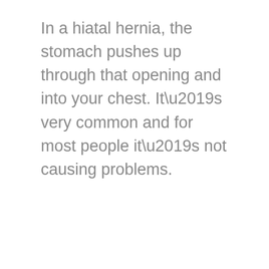In a hiatal hernia, the stomach pushes up through that opening and into your chest. It’s very common and for most people it’s not causing problems.